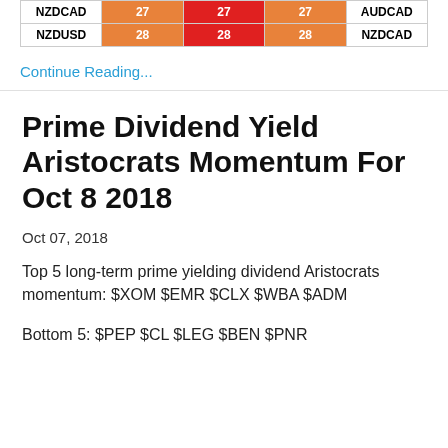|  | Col1 | Col2 | Col3 |  |
| --- | --- | --- | --- | --- |
| NZDCAD | 27 | 27 | 27 | AUDCAD |
| NZDUSD | 28 | 28 | 28 | NZDCAD |
Continue Reading...
Prime Dividend Yield Aristocrats Momentum For Oct 8 2018
Oct 07, 2018
Top 5 long-term prime yielding dividend Aristocrats momentum: $XOM $EMR $CLX $WBA $ADM
Bottom 5: $PEP $CL $LEG $BEN $PNR